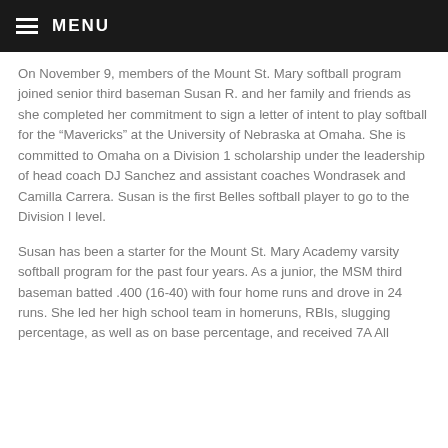MENU
On November 9, members of the Mount St. Mary softball program joined senior third baseman Susan R. and her family and friends as she completed her commitment to sign a letter of intent to play softball for the “Mavericks” at the University of Nebraska at Omaha. She is committed to Omaha on a Division 1 scholarship under the leadership of head coach DJ Sanchez and assistant coaches Wondrasek and Camilla Carrera. Susan is the first Belles softball player to go to the Division I level.
Susan has been a starter for the Mount St. Mary Academy varsity softball program for the past four years. As a junior, the MSM third baseman batted .400 (16-40) with four home runs and drove in 24 runs. She led her high school team in homeruns, RBIs, slugging percentage, as well as on base percentage, and received 7A All